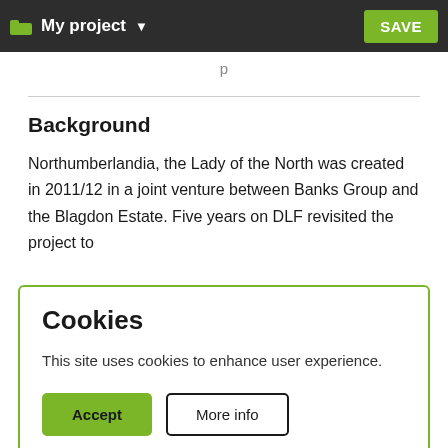My project ▾   SAVE
(partial text cut off from above)
Background
Northumberlandia, the Lady of the North was created in 2011/12 in a joint venture between Banks Group and the Blagdon Estate. Five years on DLF revisited the project to
Cookies
This site uses cookies to enhance user experience.
Accept   More info